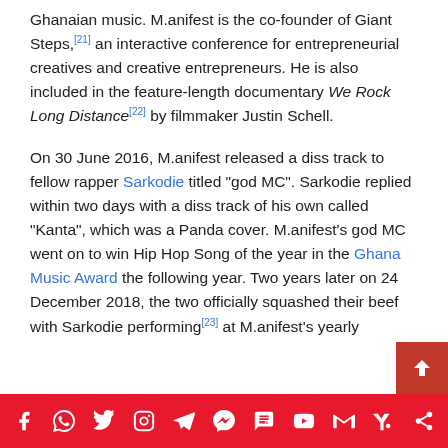Ghanaian music. M.anifest is the co-founder of Giant Steps,[21] an interactive conference for entrepreneurial creatives and creative entrepreneurs. He is also included in the feature-length documentary We Rock Long Distance[22] by filmmaker Justin Schell.
On 30 June 2016, M.anifest released a diss track to fellow rapper Sarkodie titled "god MC". Sarkodie replied within two days with a diss track of his own called "Kanta", which was a Panda cover. M.anifest's god MC went on to win Hip Hop Song of the year in the Ghana Music Award the following year. Two years later on 24 December 2018, the two officially squashed their beef with Sarkodie performing[23] at M.anifest's yearly